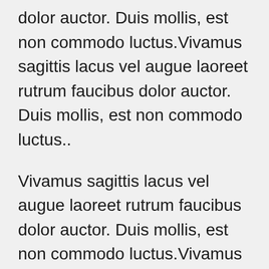dolor auctor. Duis mollis, est non commodo luctus.Vivamus sagittis lacus vel augue laoreet rutrum faucibus dolor auctor. Duis mollis, est non commodo luctus..
Vivamus sagittis lacus vel augue laoreet rutrum faucibus dolor auctor. Duis mollis, est non commodo luctus.Vivamus sagittis lacus vel augue laoreet rutrum faucibus dolor auctor. Duis mollis, est non commodo luctus.